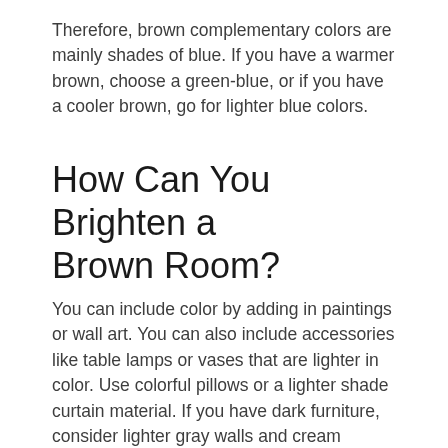Therefore, brown complementary colors are mainly shades of blue. If you have a warmer brown, choose a green-blue, or if you have a cooler brown, go for lighter blue colors.
How Can You Brighten a Brown Room?
You can include color by adding in paintings or wall art. You can also include accessories like table lamps or vases that are lighter in color. Use colorful pillows or a lighter shade curtain material. If you have dark furniture, consider lighter gray walls and cream accents.